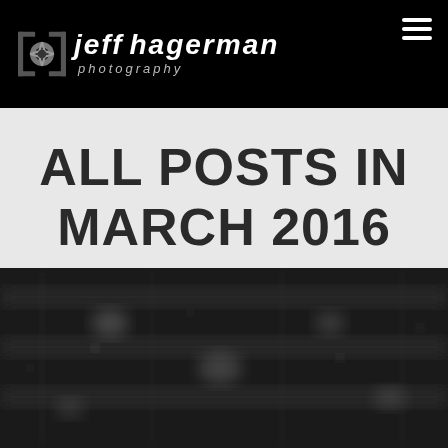[Figure (logo): Jeff Hagerman Photography logo with camera aperture icon on black header bar, plus hamburger menu icon top right]
ALL POSTS IN MARCH 2016
[Figure (photo): Blurred dark photograph showing what appears to be shelves or a store interior, rendered at the bottom of the page]